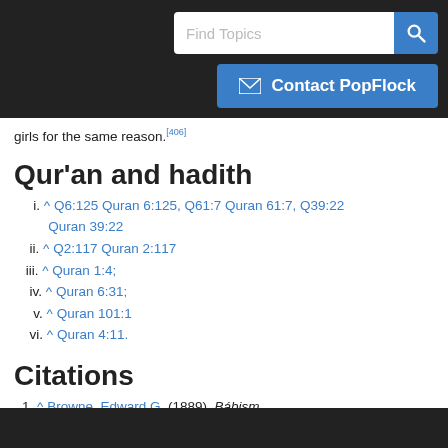Find Topics | Contact PopFlock
girls for the same reason.[406]
Qur'an and hadith
i. ^ Q6:125 Quran 6:125, Q61:7 Quran 61:7, Q39:22 Quran 39:22
ii. ^ Q2:117 Quran 2:117
iii. ^ Quran 1:4;
iv. ^ Quran 6:31;
v. ^ Quran 101:1
vi. ^ Quran 4:11.
Citations
1. ^ Browne, Edward G. (1889). Bábism.
2. ^ Hunter, Shireen (2010). The Politics of Islamic Revivalism: Diversity and Unity. Center for Strategic and International...